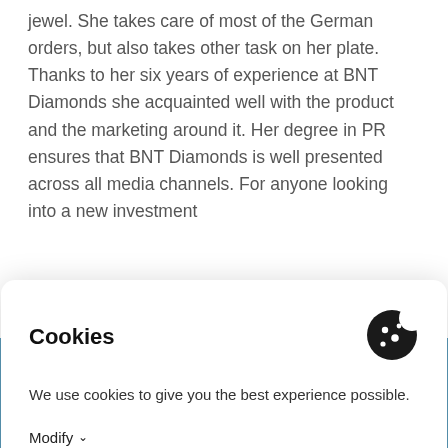jewel. She takes care of most of the German orders, but also takes other task on her plate. Thanks to her six years of experience at BNT Diamonds she acquainted well with the product and the marketing around it. Her degree in PR ensures that BNT Diamonds is well presented across all media channels. For anyone looking into a new investment
Cookies
We use cookies to give you the best experience possible.
Modify
Accept
why we recommend to research the risks and aspects of investing in diamond properly to